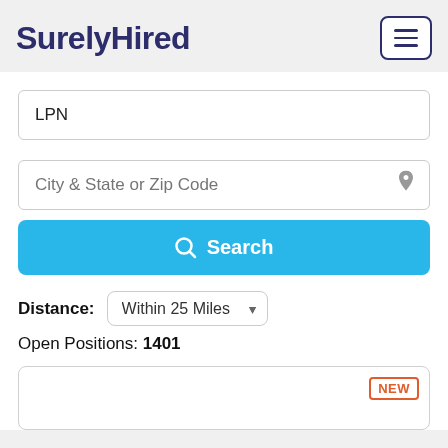SurelyHired
LPN
City & State or Zip Code
Search
Distance: Within 25 Miles
Open Positions: 1401
[Figure (screenshot): Job listing card with NEW badge, partially visible at bottom of page]